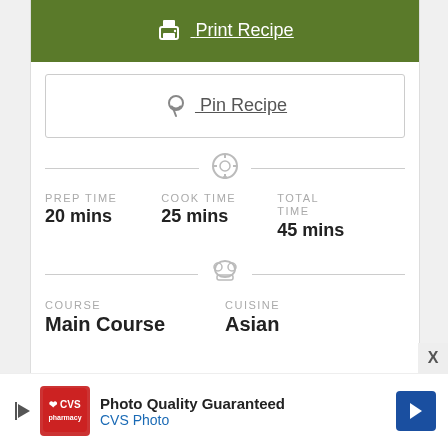[Figure (screenshot): Print Recipe green button with printer icon]
[Figure (screenshot): Pin Recipe button with Pinterest P icon, outlined box]
PREP TIME
20 mins
COOK TIME
25 mins
TOTAL TIME
45 mins
COURSE
Main Course
CUISINE
Asian
[Figure (screenshot): CVS Photo advertisement banner - Photo Quality Guaranteed]